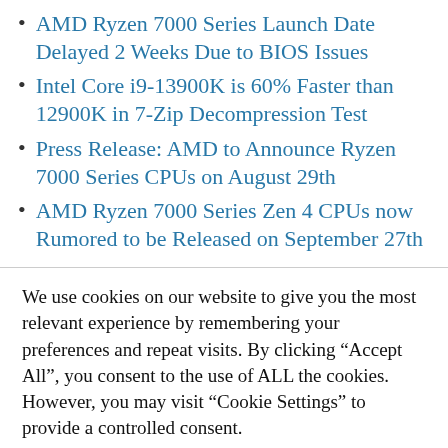AMD Ryzen 7000 Series Launch Date Delayed 2 Weeks Due to BIOS Issues
Intel Core i9-13900K is 60% Faster than 12900K in 7-Zip Decompression Test
Press Release: AMD to Announce Ryzen 7000 Series CPUs on August 29th
AMD Ryzen 7000 Series Zen 4 CPUs now Rumored to be Released on September 27th
We use cookies on our website to give you the most relevant experience by remembering your preferences and repeat visits. By clicking “Accept All”, you consent to the use of ALL the cookies. However, you may visit "Cookie Settings" to provide a controlled consent.
Cookie Settings | Accept All